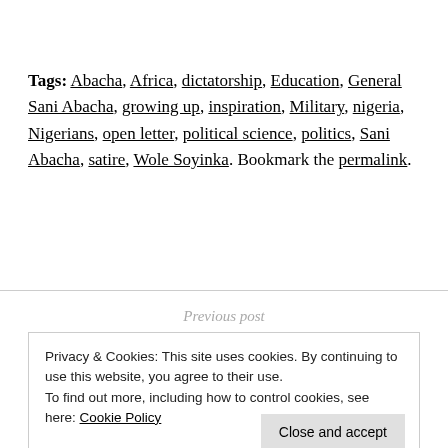Tags: Abacha, Africa, dictatorship, Education, General Sani Abacha, growing up, inspiration, Military, nigeria, Nigerians, open letter, political science, politics, Sani Abacha, satire, Wole Soyinka. Bookmark the permalink.
Previous post
Privacy & Cookies: This site uses cookies. By continuing to use this website, you agree to their use. To find out more, including how to control cookies, see here: Cookie Policy
Close and accept